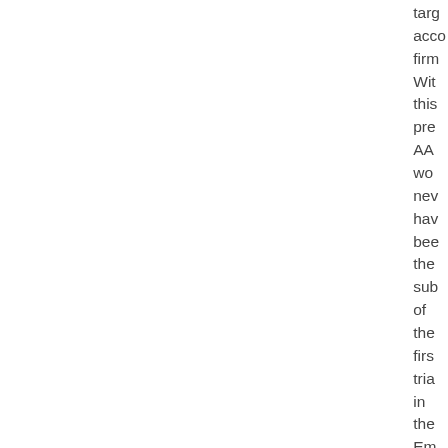targ acco firm With this pre AA wo new hav bee the sub of the firs tria in the Em det In fac